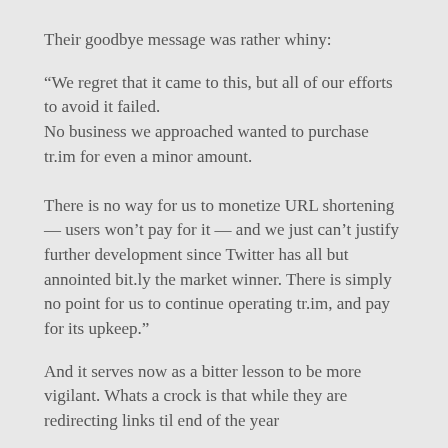Their goodbye message was rather whiny:
“We regret that it came to this, but all of our efforts to avoid it failed.
No business we approached wanted to purchase tr.im for even a minor amount.

There is no way for us to monetize URL shortening — users won’t pay for it — and we just can’t justify further development since Twitter has all but annointed bit.ly the market winner. There is simply no point for us to continue operating tr.im, and pay for its upkeep.”
And it serves now as a bitter lesson to be more vigilant. Whats a crock is that while they are redirecting links til end of the year